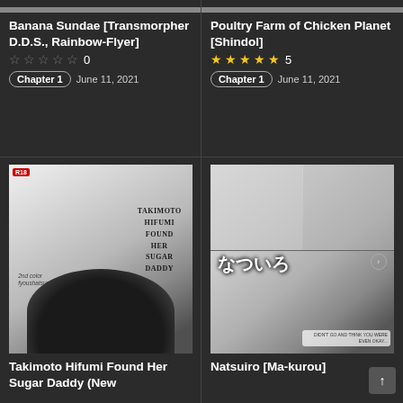[Figure (illustration): Cropped manga thumbnail for Banana Sundae]
Banana Sundae [Transmorpher D.D.S., Rainbow-Flyer]
☆☆☆☆☆ 0
Chapter 1  June 11, 2021
[Figure (illustration): Cropped manga thumbnail for Poultry Farm of Chicken Planet]
Poultry Farm of Chicken Planet [Shindol]
★★★★★ 5
Chapter 1  June 11, 2021
[Figure (illustration): Manga cover: Takimoto Hifumi Found Her Sugar Daddy, grayscale, with text overlay]
[Figure (illustration): Manga cover: Natsuiro [Ma-kurou], grayscale panel collage with Japanese text なついろ]
Takimoto Hifumi Found Her Sugar Daddy (New
Natsuiro [Ma-kurou]